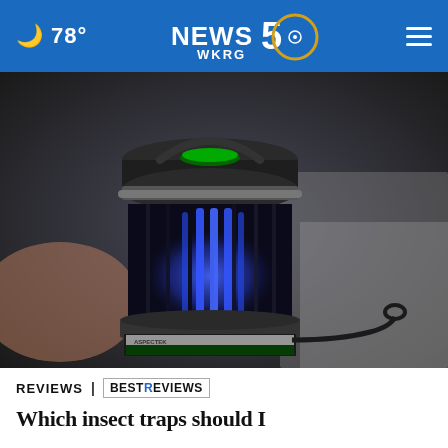🌙 78° | NEWS 5 WKRG | ☰
[Figure (photo): Close-up photo of a person holding a ASPECTEK or similar brand bug zapper / insect trap device with blue UV light visible inside a black cylindrical cage frame, with blurred background]
REVIEWS | BESTREVIEWS
Which insect traps should I